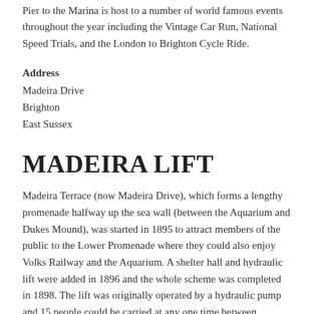Pier to the Marina is host to a number of world famous events throughout the year including the Vintage Car Run, National Speed Trials, and the London to Brighton Cycle Ride.
Address
Madeira Drive
Brighton
East Sussex
MADEIRA LIFT
Madeira Terrace (now Madeira Drive), which forms a lengthy promenade halfway up the sea wall (between the Aquarium and Dukes Mound), was started in 1895 to attract members of the public to the Lower Promenade where they could also enjoy Volks Railway and the Aquarium. A shelter hall and hydraulic lift were added in 1896 and the whole scheme was completed in 1898. The lift was originally operated by a hydraulic pump and 15 people could be carried at any one time between Madeira Drive to Marine Parade for a charge of a halfpenny each way. (The present electrically powered lift